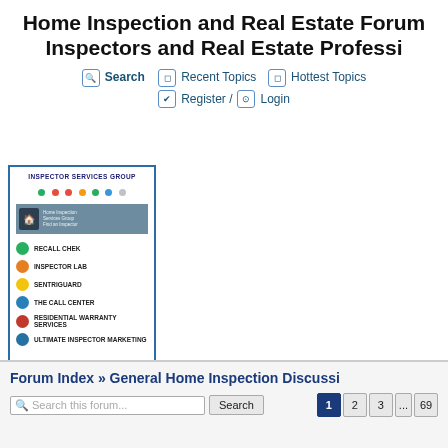Home Inspection and Real Estate Forum for Home Inspectors and Real Estate Professionals
Search  Recent Topics  Hottest Topics  Register /  Login
[Figure (screenshot): Inspector Services Group advertisement banner with colorful service icons: Recall Chek, Inspector Lab, SentriGuard, The Call Center, Residential Warranty Services, Ultimate Inspector Marketing]
Forum Index » General Home Inspection Discussion
Search this forum...  Search  1  2  3  ...  69